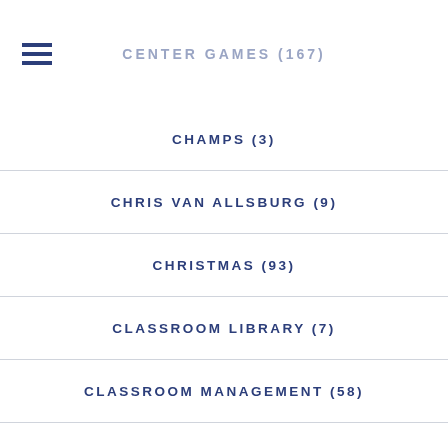CENTER GAMES (167)
CHAMPS (3)
CHRIS VAN ALLSBURG (9)
CHRISTMAS (93)
CLASSROOM LIBRARY (7)
CLASSROOM MANAGEMENT (58)
CLASSROOM ORGANIZATION (51)
CLASSROOM PICTURES (13)
CLASSROOM ROUTINES (21)